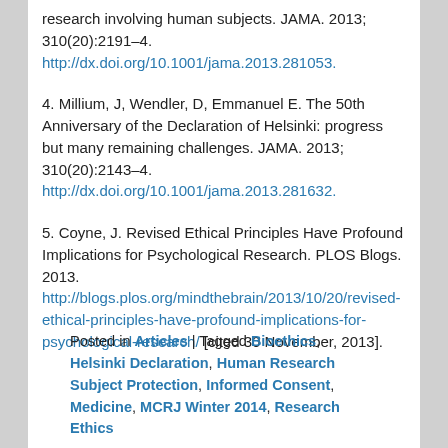research involving human subjects. JAMA. 2013; 310(20):2191–4. http://dx.doi.org/10.1001/jama.2013.281053.
4. Millium, J, Wendler, D, Emmanuel E. The 50th Anniversary of the Declaration of Helsinki: progress but many remaining challenges. JAMA. 2013; 310(20):2143–4. http://dx.doi.org/10.1001/jama.2013.281632.
5. Coyne, J. Revised Ethical Principles Have Profound Implications for Psychological Research. PLOS Blogs. 2013. http://blogs.plos.org/mindthebrain/2013/10/20/revised-ethical-principles-have-profound-implications-for-psychological-research/ [cited 30 November, 2013].
Posted in Articles | Tagged Bioethics, Helsinki Declaration, Human Research Subject Protection, Informed Consent, Medicine, MCRJ Winter 2014, Research Ethics